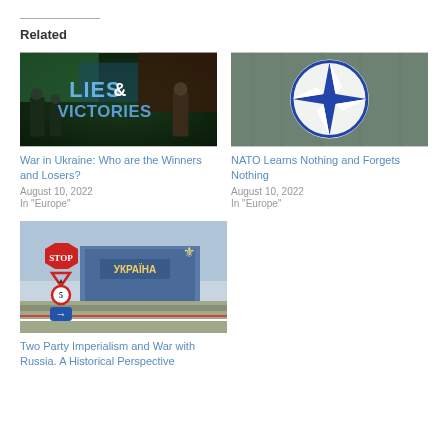Related
[Figure (photo): War game / military themed image with text 'LIES & VICTORIES' over soldiers in combat gear]
War in Ukraine: Who are the Winners and Losers?
August 10, 2022
In "Europe"
[Figure (photo): NATO star logo emblem with blue and white design against a wet/rainy background]
NATO Learns Nothing and Forgets Nothing
August 10, 2022
In "Europe"
[Figure (photo): Ukraine border crossing with STOP sign and road signs, building with Ukrainian national symbol visible]
Two Party Imperialism and War with Russia. A Historical Perspective